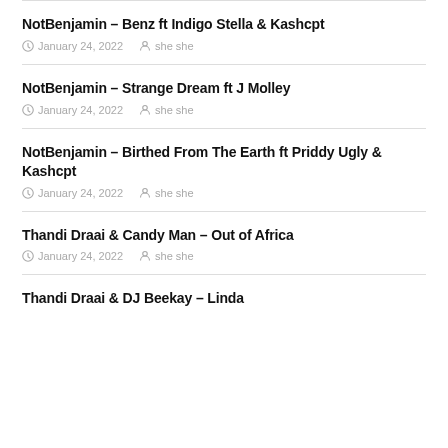NotBenjamin – Benz ft Indigo Stella & Kashcpt
January 24, 2022  she she
NotBenjamin – Strange Dream ft J Molley
January 24, 2022  she she
NotBenjamin – Birthed From The Earth ft Priddy Ugly & Kashcpt
January 24, 2022  she she
Thandi Draai & Candy Man – Out of Africa
January 24, 2022  she she
Thandi Draai & DJ Beekay – Linda